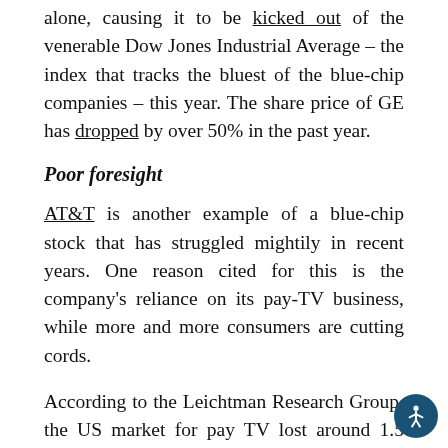alone, causing it to be kicked out of the venerable Dow Jones Industrial Average – the index that tracks the bluest of the blue-chip companies – this year. The share price of GE has dropped by over 50% in the past year.
Poor foresight
AT&T is another example of a blue-chip stock that has struggled mightily in recent years. One reason cited for this is the company's reliance on its pay-TV business, while more and more consumers are cutting cords.
According to the Leichtman Research Group, the US market for pay TV lost around 1.5 million video subscribers in 2017, with a third of the AT&T...